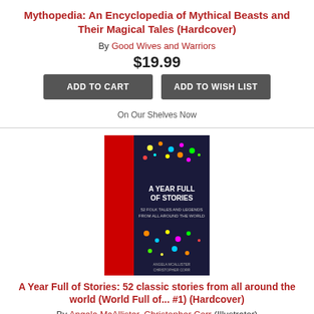Mythopedia: An Encyclopedia of Mythical Beasts and Their Magical Tales (Hardcover)
By Good Wives and Warriors
$19.99
ADD TO CART | ADD TO WISH LIST
On Our Shelves Now
[Figure (photo): Book cover of A Year Full of Stories: colorful illustration of animals and folk motifs on dark background with red spine]
A Year Full of Stories: 52 classic stories from all around the world (World Full of... #1) (Hardcover)
By Angela McAllister, Christopher Corr (Illustrator)
$22.99
ADD TO CART | ADD TO WISH LIST